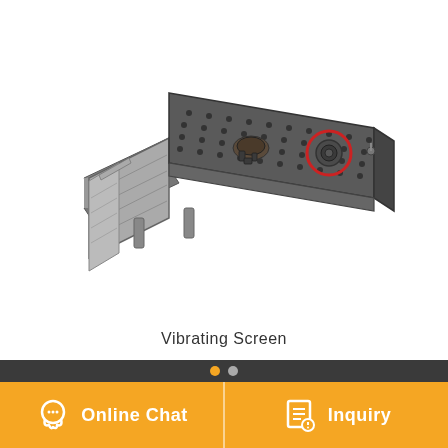[Figure (photo): Industrial vibrating screen machine shown at an angle. The machine is large, dark grey/black colored, with a flat rectangular screening surface covered in bolt/stud patterns. It has a visible circular motor/exciter unit highlighted with a red circle on the right side. The machine has side rails and appears to be photographed on a white background.]
Vibrating Screen
[Figure (other): Navigation dots: one orange filled dot and one grey filled dot indicating carousel position]
[Figure (infographic): Orange footer bar with two sections separated by a vertical line: left section shows a headset/chat icon with text 'Online Chat', right section shows a document/inquiry icon with text 'Inquiry']